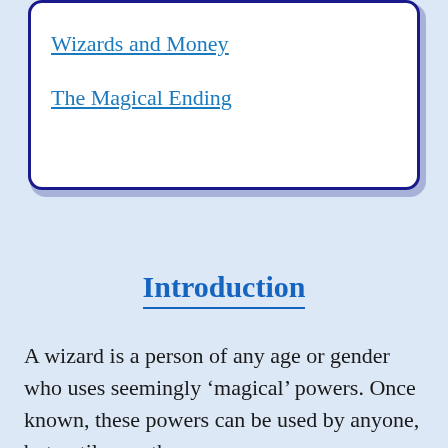Wizards and Money
The Magical Ending
Introduction
A wizard is a person of any age or gender who uses seemingly ‘magical’ powers. Once known, these powers can be used by anyone, but until now, they